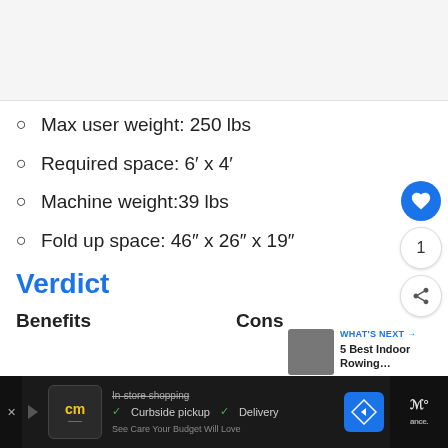[Figure (photo): Image placeholder at the top of the page (product or article image)]
Max user weight: 250 lbs
Required space: 6′ x 4′
Machine weight:39 lbs
Fold up space: 46″ x 26″ x 19″
Verdict
Benefits    Cons